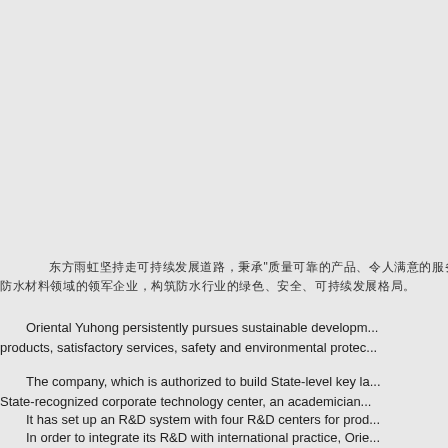[Chinese text line 1 - truncated at right edge]
[Chinese text line 2]
Oriental Yuhong persistently pursues sustainable development... products, satisfactory services, safety and environmental protection...
The company, which is authorized to build State-level key la... State-recognized corporate technology center, an academician...
It has set up an R&D system with four R&D centers for prod...
In order to integrate its R&D with international practice, Orie...
Overseas R&D Center for Waterborne Coatings (in Pennsylvani...